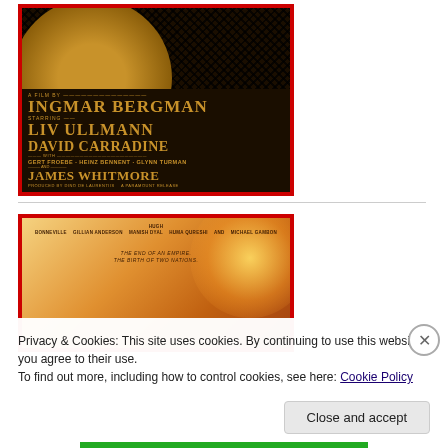[Figure (photo): Movie poster for a film by Ingmar Bergman, starring Liv Ullmann, David Carradine, Gert Froebe, Heinz Bennent, Glynn Turman, and James Whitmore. Produced by Dino De Laurentiis, a Paramount release. Dark background with golden art deco typography and a woman's portrait in a golden circle.]
[Figure (photo): Partial movie poster with warm orange/golden tones showing cast names including Bonneville, Anderson, Deval, Irons, and Gambon. Tagline: 'The end of an empire. The birth of two nations.']
Privacy & Cookies: This site uses cookies. By continuing to use this website, you agree to their use.
To find out more, including how to control cookies, see here: Cookie Policy
Close and accept